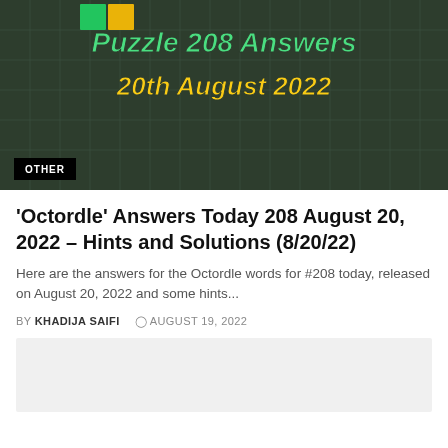[Figure (photo): Dark green grid background resembling Octordle puzzle board with green and yellow colored squares visible at top. Text overlay reading 'Puzzle 208 Answers 20th August 2022' in green and yellow styled fonts. Black badge with 'OTHER' text in bottom left corner.]
'Octordle' Answers Today 208 August 20, 2022 – Hints and Solutions (8/20/22)
Here are the answers for the Octordle words for #208 today, released on August 20, 2022 and some hints...
BY KHADIJA SAIFI  © AUGUST 19, 2022
[Figure (photo): Light gray placeholder image block]